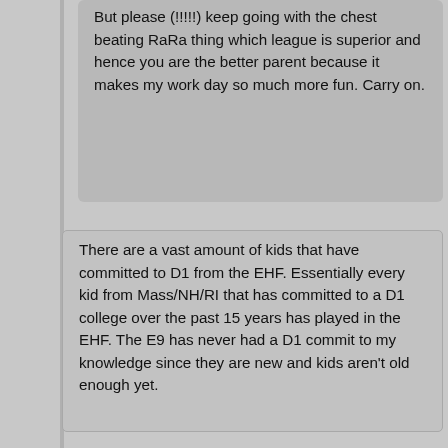But please (!!!!!) keep going with the chest beating RaRa thing which league is superior and hence you are the better parent because it makes my work day so much more fun. Carry on.
There are a vast amount of kids that have committed to D1 from the EHF. Essentially every kid from Mass/NH/RI that has committed to a D1 college over the past 15 years has played in the EHF. The E9 has never had a D1 commit to my knowledge since they are new and kids aren't old enough yet.
You are either new to this or you just have no clue what you're talking about. Sure some of the kids have played some games there but not all of them owe their development to the EHF. Heck the league is only 10-11 years old. And if you remember correctly The Metro League had perhaps more success story before the EHF ever existed. Some of the kids that have made it recently like Eichel, Hannifin, Danato owe more allegiance to independent teams like Boston Mission / Team Mass and Boston Advantage. Ask any of the '96 kids that are playing